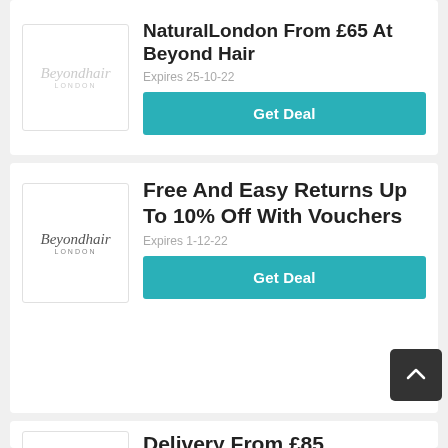[Figure (logo): Beyond Hair London logo in script font, light grey, inside a white bordered box]
NaturalLondon From £65 At Beyond Hair
Expires 25-10-22
Get Deal
[Figure (logo): Beyond Hair London logo in script font, dark, inside a white bordered box]
Free And Easy Returns Up To 10% Off With Vouchers
Expires 1-12-22
Get Deal
[Figure (logo): Beyond Hair London logo placeholder, white bordered box]
Delivery From £85